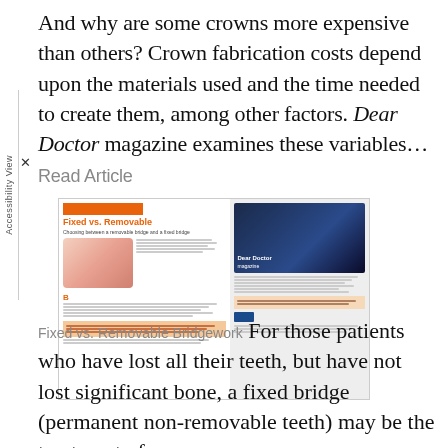And why are some crowns more expensive than others? Crown fabrication costs depend upon the materials used and the time needed to create them, among other factors. Dear Doctor magazine examines these variables… Read Article
[Figure (photo): Thumbnail image of a Dear Doctor magazine article titled 'Fixed vs. Removable' showing dental images and article text]
Fixed vs. Removable Bridgework For those patients who have lost all their teeth, but have not lost significant bone, a fixed bridge (permanent non-removable teeth) may be the treatment of